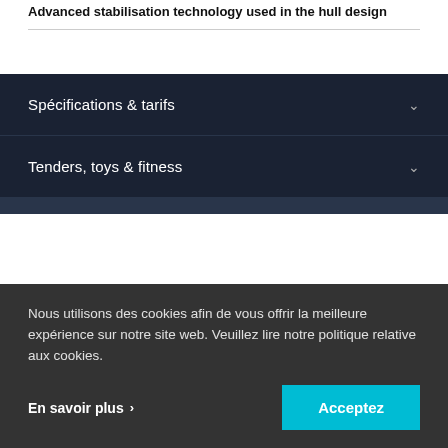Advanced stabilisation technology used in the hull design
Spécifications & tarifs
Tenders, toys & fitness
Nous utilisons des cookies afin de vous offrir la meilleure expérience sur notre site web. Veuillez lire notre politique relative aux cookies.
En savoir plus
Acceptez